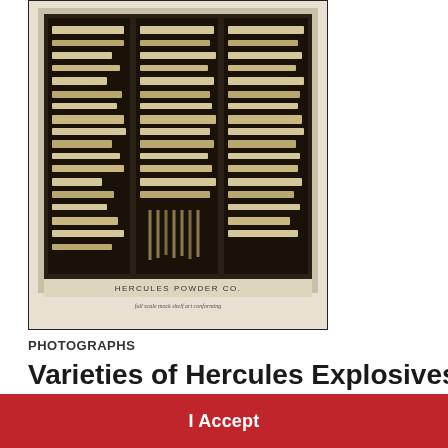[Figure (photo): Black and white photograph of an explosives sample display board showing various sticks and cartridges of Hercules Powder Co. explosives arranged in rows with labels. Text at bottom reads 'HERCULES POWDER CO.' with a handwritten note below.]
PHOTOGRAPHS
Varieties of Hercules Explosives
This website uses cookies to perform analytics, improve functionality, and enhance user experience. You may set your browser to decline cookies, but some content on our site may not display properly. For more information, please visit our privacy policy.
I Accept